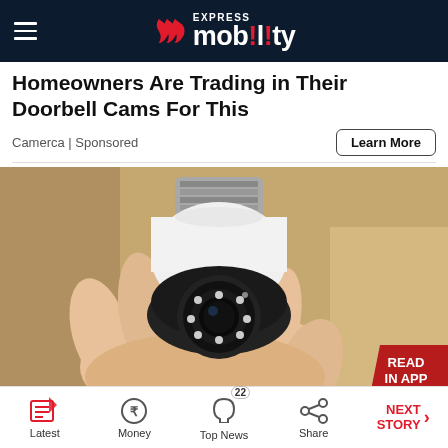Express Mobility
Homeowners Are Trading in Their Doorbell Cams For This
Camerca | Sponsored
[Figure (photo): A hand holding a white light bulb security camera with a black lens module and LED ring, against a cardboard box background. Red 'READ IN APP' badge in bottom right corner.]
Latest | Money | Top News 22 | Share | NEXT STORY